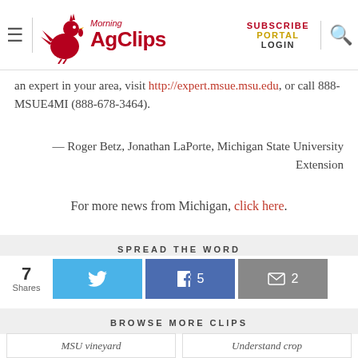Morning AgClips — SUBSCRIBE PORTAL LOGIN
an expert in your area, visit http://expert.msue.msu.edu, or call 888-MSUE4MI (888-678-3464).
— Roger Betz, Jonathan LaPorte, Michigan State University Extension
For more news from Michigan, click here.
SPREAD THE WORD
7 Shares  [Twitter]  [Facebook 5]  [Email 2]
BROWSE MORE CLIPS
MSU vineyard
Understand crop